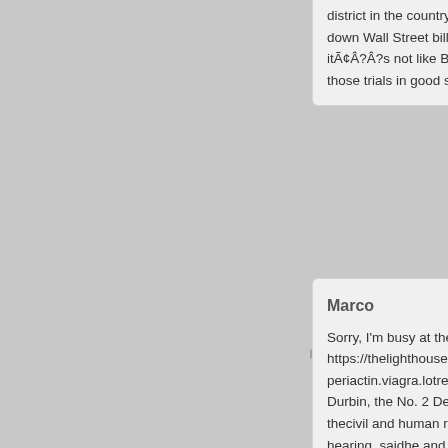district in the country, led down Wall Street billionair itÃ¢Â?Â?s not like Bonds those trials in good shape
[Figure (illustration): User avatar icon - green circle with person silhouette on light gray square background with right-pointing arrow]
Marco
Sorry, I'm busy at the mor https://thelighthousenetwo periactin.viagra.lotrel ena Durbin, the No. 2 Democr thecivil and human rights hearing, saidhe and Feins House officials last weekt transfer detainees away f
[Figure (illustration): User avatar icon - green circle with person silhouette on light gray square background with right-pointing arrow]
Chris
Have you got a telephone https://ezacco.com/stmap alli.pravachol.viagra.zaga